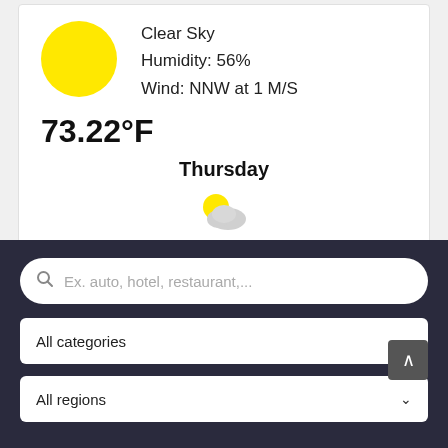[Figure (illustration): Yellow circle representing clear sky / sun]
Clear Sky
Humidity: 56%
Wind: NNW at 1 M/S
73.22°F
Thursday
[Figure (illustration): Partly cloudy weather icon: small yellow sun behind a gray cloud]
51.98°F / 80.24°F
Ex. auto, hotel, restaurant,...
All categories
All regions